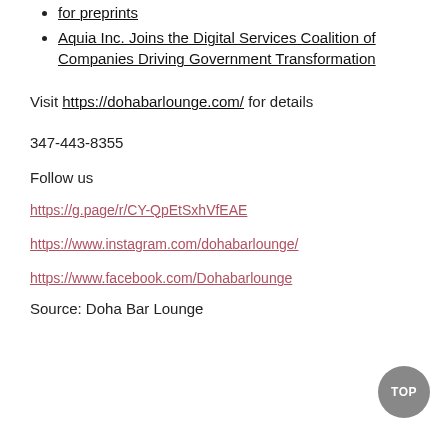for preprints
Aquia Inc. Joins the Digital Services Coalition of Companies Driving Government Transformation
Visit https://dohabarlounge.com/ for details
347-443-8355
Follow us
https://g.page/r/CY-QpEtSxhVfEAE
https://www.instagram.com/dohabarlounge/
https://www.facebook.com/Dohabarlounge
Source: Doha Bar Lounge